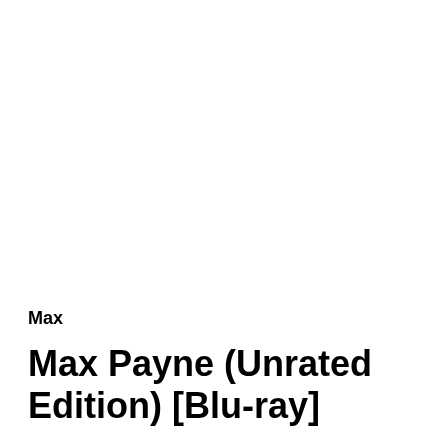Max
Max Payne (Unrated Edition) [Blu-ray]